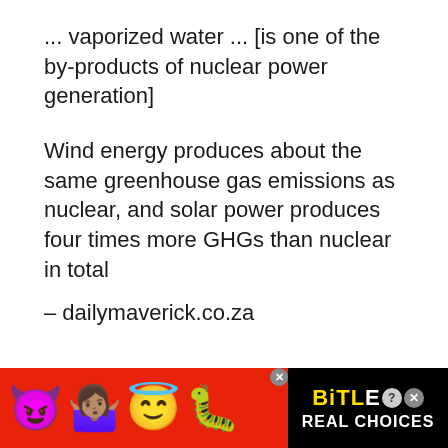... vaporized water ... [is one of the by-products of nuclear power generation]
Wind energy produces about the same greenhouse gas emissions as nuclear, and solar power produces four times more GHGs than nuclear in total
– dailymaverick.co.za
Used In A Range Of Countries
[Figure (infographic): Advertisement banner with red background showing devil emoji, shrugging woman emoji, angel emoji, sperm emoji, and BitLife logo with REAL CHOICES text on black background]